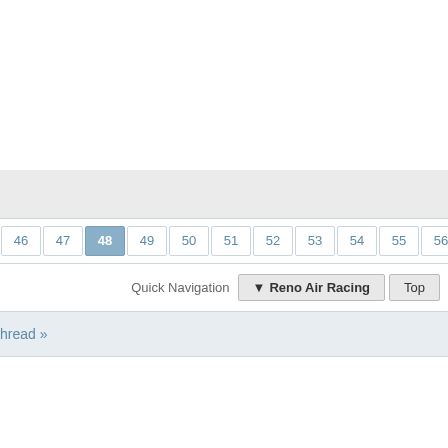[Figure (screenshot): Top white area of a web forum page]
46 47 48 49 50 51 52 53 54 55 56 57 58 59 60 61
Quick Navigation  ▼ Reno Air Racing  Top
Thread »